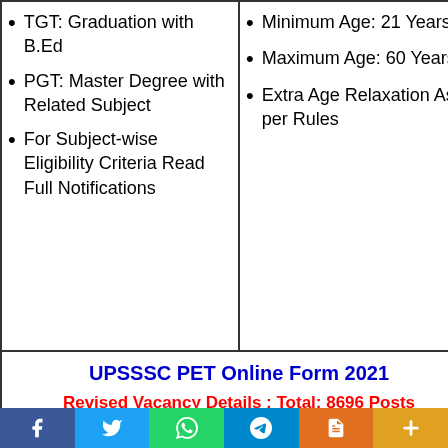TGT: Graduation with B.Ed
PGT: Master Degree with Related Subject
For Subject-wise Eligibility Criteria Read Full Notifications
Minimum Age: 21 Years
Maximum Age: 60 Years
Extra Age Relaxation As per Rules
UPSSSC PET Online Form 2021
Revised Vacancy Details : Total: 8696 Posts